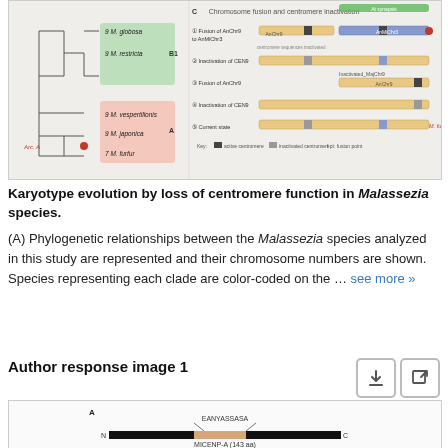[Figure (illustration): Phylogenetic tree (A) showing Malassezia species with chromosome numbers (M. globosa 9, M. restricta 9, M. vespertilionis 9, M. japonica 9, M. furfur 7) with color-coded clades (B1 in green, A in pink), and diagram (C) showing chromosome fusion and centromere inactivation steps in Malassezia, with a key indicating active centromeres, inactivated centromeres, and fusion points.]
Karyotype evolution by loss of centromere function in Malassezia species. (A) Phylogenetic relationships between the Malassezia species analyzed in this study are represented and their chromosome numbers are shown. Species representing each clade are color-coded on the ... see more »
Author response image 1
[Figure (illustration): Diagram showing protein domain structure. Panel A: MICENP-A (143 aa) protein shown as a black bar from N to C terminus, with EANYASSASA sequence indicated above a highlighted region. Panel B: partially visible.]